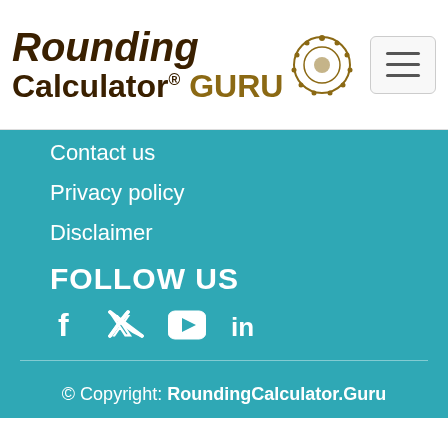[Figure (logo): Rounding Calculator.GURU logo with gear icon on white header bar]
Contact us
Privacy policy
Disclaimer
FOLLOW US
[Figure (infographic): Social media icons: Facebook, Twitter, YouTube, LinkedIn in white on teal background]
© Copyright: RoundingCalculator.Guru